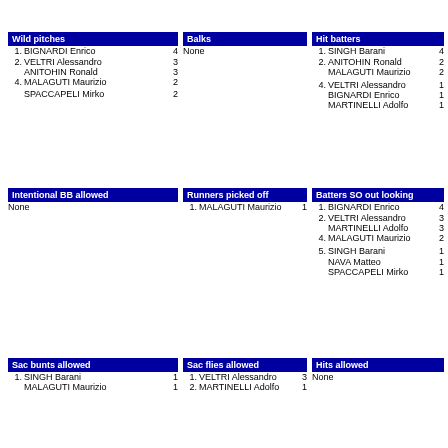Wild pitches
1. BIGNARDI Enrico 4
2. VELTRI Alessandro 3
ANITOHIN Ronald 3
4. MALAGUTI Maurizio 2
SPACCAPELI Mirko 2
Balks
None
Hit batters
1. SINGH Barani 4
2. ANITOHIN Ronald 2
MALAGUTI Maurizio 2
4. VELTRI Alessandro 1
BIGNARDI Enrico 1
MARTINELLI Adolfo 1
Intentional BB allowed
None
Runners picked off
1. MALAGUTI Maurizio 1
Batters SO out looking
1. BIGNARDI Enrico 4
2. VELTRI Alessandro 3
MARTINELLI Adolfo 3
4. MALAGUTI Maurizio 2
5. SINGH Barani 1
NAVA Matteo 1
SPACCAPELI Mirko 1
Sac bunts allowed
1. SINGH Barani 1
MALAGUTI Maurizio 1
Sac flies allowed
1. VELTRI Alessandro 3
2. MARTINELLI Adolfo 1
Hits allowed
None